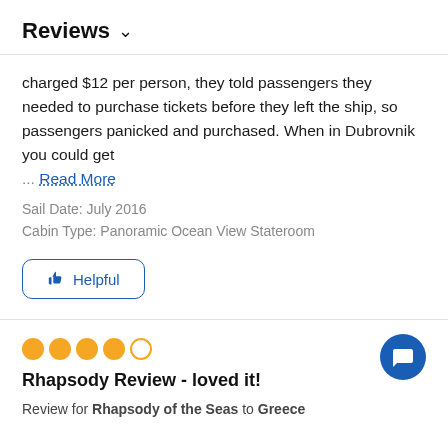Reviews ∨
charged $12 per person, they told passengers they needed to purchase tickets before they left the ship, so passengers panicked and purchased. When in Dubrovnik you could get ... Read More
Sail Date: July 2016
Cabin Type: Panoramic Ocean View Stateroom
👍 Helpful
⭐⭐⭐⭐○ Rhapsody Review - loved it!
Rhapsody Review - loved it!
Review for Rhapsody of the Seas to Greece